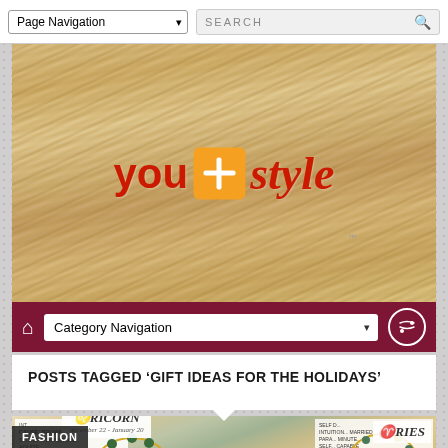Page Navigation | SEARCH
[Figure (photo): You+Style website header banner with blonde hair background and red/orange logo reading 'you [plus box] style']
Category Navigation
POSTS TAGGED 'GIFT IDEAS FOR THE HOLIDAYS'
[Figure (photo): Photo of zodiac sign bracelets (Capricorn and Aries) with beads on display cards showing zodiac information]
FASHION